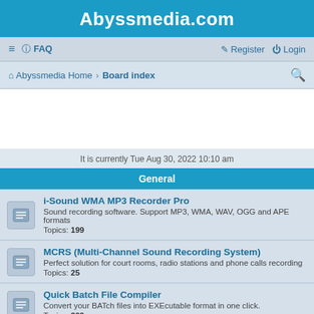Abyssmedia.com
≡  FAQ    Register  Login
Abyssmedia Home › Board index
It is currently Tue Aug 30, 2022 10:10 am
General
i-Sound WMA MP3 Recorder Pro
Sound recording software. Support MP3, WMA, WAV, OGG and APE formats
Topics: 199
MCRS (Multi-Channel Sound Recording System)
Perfect solution for court rooms, radio stations and phone calls recording
Topics: 25
Quick Batch File Compiler
Convert your BATch files into EXEcutable format in one click.
Topics: 209
ScriptCryptor
VBS to EXE and JScript to EXE Compiler
Topics: 38